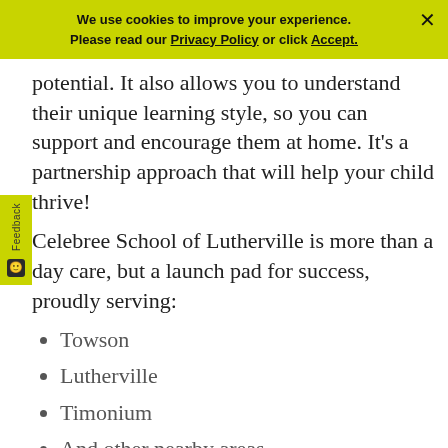We use cookies to improve your experience. Please read our Privacy Policy or click Accept.
potential. It also allows you to understand their unique learning style, so you can support and encourage them at home. It's a partnership approach that will help your child thrive!
Celebree School of Lutherville is more than a day care, but a launch pad for success, proudly serving:
Towson
Lutherville
Timonium
And other nearby areas